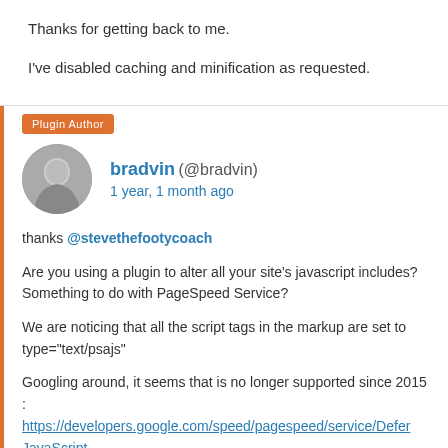Thanks for getting back to me.
I've disabled caching and minification as requested.
Plugin Author
bradvin (@bradvin) 1 year, 1 month ago
thanks @stevethefootycoach
Are you using a plugin to alter all your site's javascript includes? Something to do with PageSpeed Service?
We are noticing that all the script tags in the markup are set to type="text/psajs"
Googling around, it seems that is no longer supported since 2015 : https://developers.google.com/speed/pagespeed/service/DeferJavaScript